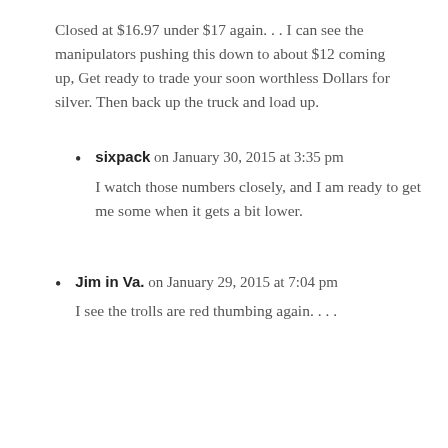Closed at $16.97 under $17 again. . . I can see the manipulators pushing this down to about $12 coming up, Get ready to trade your soon worthless Dollars for silver. Then back up the truck and load up.
sixpack on January 30, 2015 at 3:35 pm
I watch those numbers closely, and I am ready to get me some when it gets a bit lower.
Jim in Va. on January 29, 2015 at 7:04 pm
I see the trolls are red thumbing again. . . .